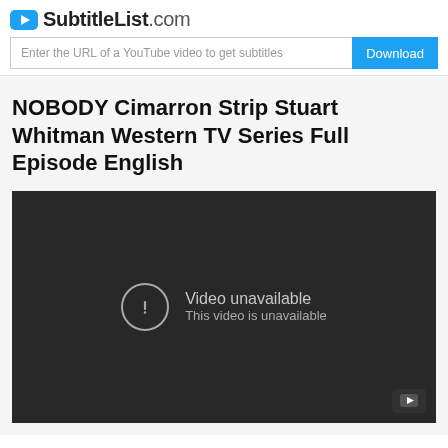SubtitleList.com
Enter the URL of a YouTube video to get subtitles
NOBODY Cimarron Strip Stuart Whitman Western TV Series Full Episode English
[Figure (screenshot): Embedded YouTube video player showing 'Video unavailable - This video is unavailable' error message on dark background]